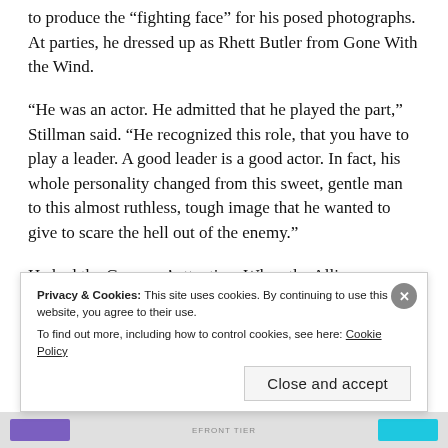to produce the “fighting face” for his posed photographs. At parties, he dressed up as Rhett Butler from Gone With the Wind.
“He was an actor. He admitted that he played the part,” Stillman said. “He recognized this role, that you have to play a leader. A good leader is a good actor. In fact, his whole personality changed from this sweet, gentle man to this almost ruthless, tough image that he wanted to give to scare the hell out of the enemy.”
He had the Germans’ attention. When the Allies
Privacy & Cookies: This site uses cookies. By continuing to use this website, you agree to their use.
To find out more, including how to control cookies, see here: Cookie Policy
Close and accept